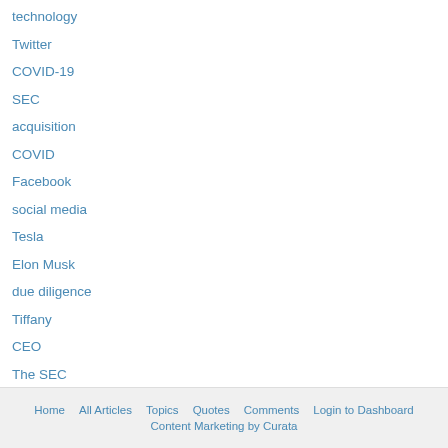technology
Twitter
COVID-19
SEC
acquisition
COVID
Facebook
social media
Tesla
Elon Musk
due diligence
Tiffany
CEO
The SEC
Home   All Articles   Topics   Quotes   Comments   Login to Dashboard
Content Marketing by Curata